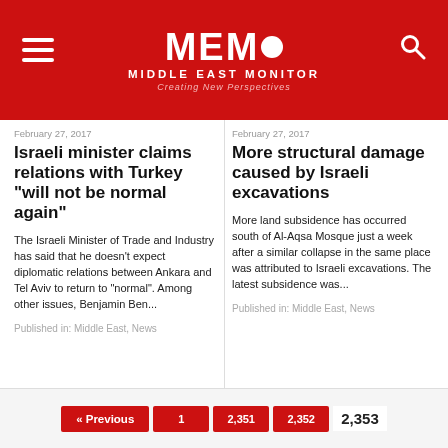[Figure (logo): MEMO Middle East Monitor logo with red background, hamburger menu icon on left, search icon on right, bold white MEMO text with filled circle replacing O, subtitle MIDDLE EAST MONITOR, tagline Creating New Perspectives]
February 27, 2017
Israeli minister claims relations with Turkey "will not be normal again"
The Israeli Minister of Trade and Industry has said that he doesn't expect diplomatic relations between Ankara and Tel Aviv to return to "normal". Among other issues, Benjamin Ben...
Published in: Middle East, News
February 27, 2017
More structural damage caused by Israeli excavations
More land subsidence has occurred south of Al-Aqsa Mosque just a week after a similar collapse in the same place was attributed to Israeli excavations. The latest subsidence was...
Published in: Middle East, News
« Previous  1  2,351  2,352  2,353